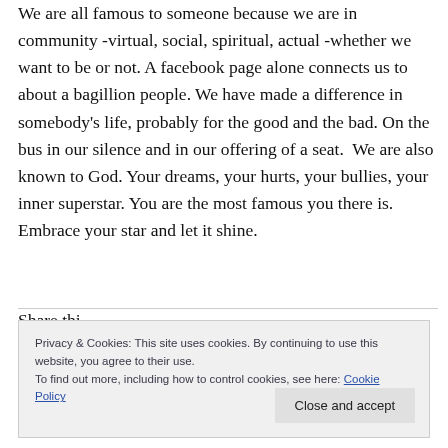We are all famous to someone because we are in community -virtual, social, spiritual, actual -whether we want to be or not. A facebook page alone connects us to about a bagillion people. We have made a difference in somebody's life, probably for the good and the bad. On the bus in our silence and in our offering of a seat.  We are also known to God. Your dreams, your hurts, your bullies, your inner superstar. You are the most famous you there is. Embrace your star and let it shine.
Share this
Privacy & Cookies: This site uses cookies. By continuing to use this website, you agree to their use.
To find out more, including how to control cookies, see here: Cookie Policy